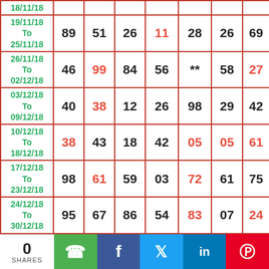| Date | Col1 | Col2 | Col3 | Col4 | Col5 | Col6 | Col7 |
| --- | --- | --- | --- | --- | --- | --- | --- |
| 18/11/18 |  |  |  |  |  |  |  |
| 19/11/18 To 25/11/18 | 89 | 51 | 26 | 11 | 28 | 26 | 69 |
| 26/11/18 To 02/12/18 | 46 | 99 | 84 | 56 | ** | 58 | 27 |
| 03/12/18 To 09/12/18 | 40 | 38 | 12 | 26 | 98 | 29 | 42 |
| 10/12/18 To 18/12/18 | 38 | 43 | 18 | 42 | 05 | 05 | 61 |
| 17/12/18 To 23/12/18 | 98 | 61 | 59 | 03 | 72 | 61 | 75 |
| 24/12/18 To 30/12/18 | 95 | 67 | 86 | 54 | 83 | 07 | 24 |
| 31/12/18 To 06/01/19 | ** | 92 | 29 | 29 | 90 | Refresh |  |
0 SHARES | WhatsApp | Facebook | Twitter | LinkedIn | Pinterest